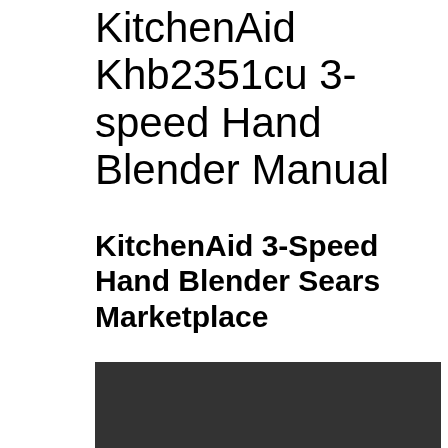KitchenAid Khb2351cu 3-speed Hand Blender Manual
KitchenAid 3-Speed Hand Blender Sears Marketplace
[Figure (photo): Dark/black image area, partially visible at bottom of page, appears to be a product photo with dark background]